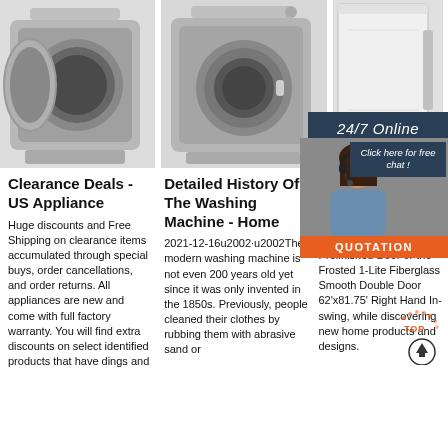[Figure (photo): Front-loading washing machine with door open, silver/stainless]
[Figure (photo): Front-loading washing machine with door closed, silver/stainless]
[Figure (photo): White washing machine side/back view]
[Figure (photo): 24/7 Online chat widget with woman in headset, click here for free chat button, QUOTATION button]
Clearance Deals - US Appliance
Huge discounts and Free Shipping on clearance items accumulated through special buys, order cancellations, and order returns. All appliances are new and come with full factory warranty. You will find extra discounts on select identified products that have dings and
Detailed History Of The Washing Machine - Home
2021-12-16u2002·u2002The modern washing machine is not even 200 years old yet since it was only invented in the 1850s. Previously, people cleaned their clothes by rubbing them with abrasive sand or
50 Mos Popula Doors D
2021-11-7u2002·u from Fro like the B Pre-Hung Prefinished Door or the Frosted 1-Lite Fiberglass Smooth Double Door 62'x81.75' Right Hand In-swing, while discovering new home products and designs.